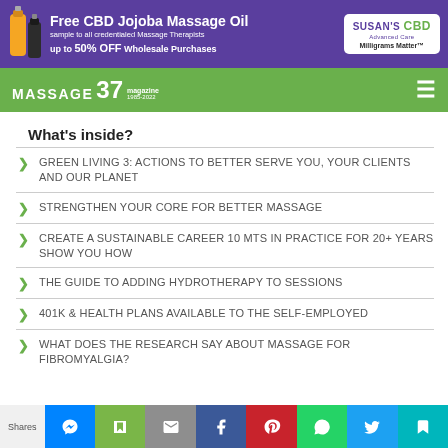[Figure (infographic): Ad banner for Free CBD Jojoba Massage Oil by Susan's CBD — purple background with bottle images, headline, and logo]
MASSAGE 37 magazine | navigation bar with hamburger menu
What's inside?
GREEN LIVING 3: ACTIONS TO BETTER SERVE YOU, YOUR CLIENTS AND OUR PLANET
STRENGTHEN YOUR CORE FOR BETTER MASSAGE
CREATE A SUSTAINABLE CAREER 10 MTS IN PRACTICE FOR 20+ YEARS SHOW YOU HOW
THE GUIDE TO ADDING HYDROTHERAPY TO SESSIONS
401K & HEALTH PLANS AVAILABLE TO THE SELF-EMPLOYED
WHAT DOES THE RESEARCH SAY ABOUT MASSAGE FOR FIBROMYALGIA?
Shares | social share buttons: Messenger, Save, Email, Facebook, Pinterest, WhatsApp, Twitter, Save